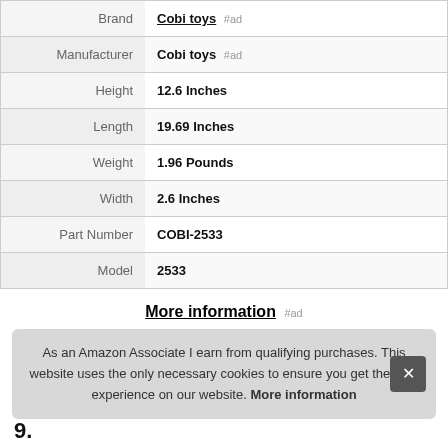| Label | Value |
| --- | --- |
| Brand | Cobi toys #ad |
| Manufacturer | Cobi toys #ad |
| Height | 12.6 Inches |
| Length | 19.69 Inches |
| Weight | 1.96 Pounds |
| Width | 2.6 Inches |
| Part Number | COBI-2533 |
| Model | 2533 |
More information #ad
As an Amazon Associate I earn from qualifying purchases. This website uses the only necessary cookies to ensure you get the best experience on our website. More information
9.